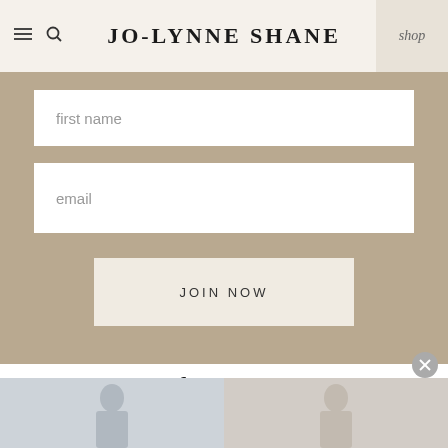JO-LYNNE SHANE | shop
first name
email
JOIN NOW
Jo-Lynne Shane on Instagram
Click an image below.
FOLLOW @JOLYNNESHANE
[Figure (photo): Instagram feed image strip showing photos of Jo-Lynne Shane]